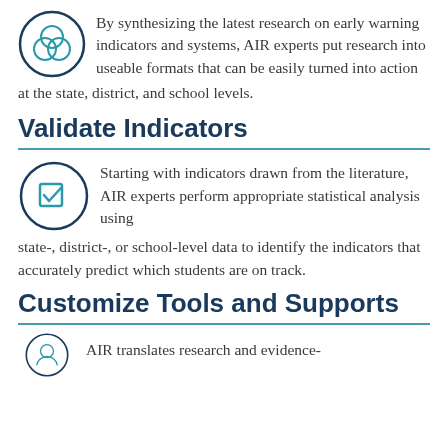[Figure (illustration): Teal circle icon with three overlapping circles (Venn diagram style)]
By synthesizing the latest research on early warning indicators and systems, AIR experts put research into useable formats that can be easily turned into action at the state, district, and school levels.
Validate Indicators
[Figure (illustration): Teal circle icon with a checkbox/checkmark inside]
Starting with indicators drawn from the literature, AIR experts perform appropriate statistical analysis using state-, district-, or school-level data to identify the indicators that accurately predict which students are on track.
Customize Tools and Supports
[Figure (illustration): Teal circle icon partially visible at bottom]
AIR translates research and evidence-